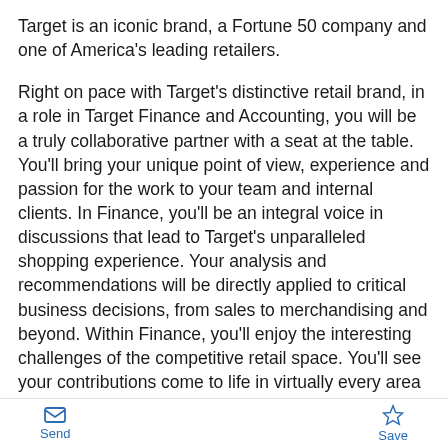Target is an iconic brand, a Fortune 50 company and one of America's leading retailers.
Right on pace with Target's distinctive retail brand, in a role in Target Finance and Accounting, you will be a truly collaborative partner with a seat at the table. You'll bring your unique point of view, experience and passion for the work to your team and internal clients. In Finance, you'll be an integral voice in discussions that lead to Target's unparalleled shopping experience. Your analysis and recommendations will be directly applied to critical business decisions, from sales to merchandising and beyond. Within Finance, you'll enjoy the interesting challenges of the competitive retail space. You'll see your contributions come to life in virtually every area of this dynamic enterprise. And you'll grow and be challenged in your career while having a healthy balance
Send  Save